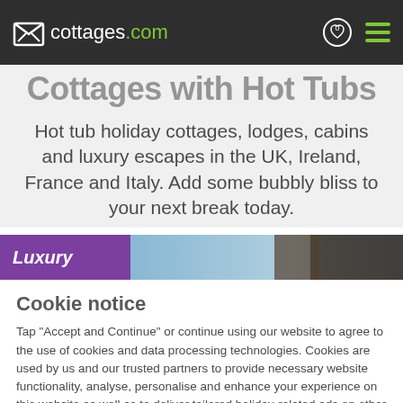cottages.com
Cottages with Hot Tubs
Hot tub holiday cottages, lodges, cabins and luxury escapes in the UK, Ireland, France and Italy. Add some bubbly bliss to your next break today.
[Figure (photo): Banner image with purple label reading 'Luxury' and a scenic outdoor photo showing sky and a wooden structure]
Cookie notice
Tap "Accept and Continue" or continue using our website to agree to the use of cookies and data processing technologies. Cookies are used by us and our trusted partners to provide necessary website functionality, analyse, personalise and enhance your experience on this website as well as to deliver tailored holiday-related ads on other websites.
Accept and Continue